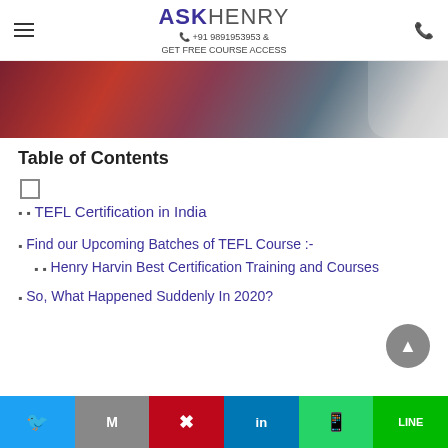ASKHENRY +91 9891953953 & GET FREE COURSE ACCESS
[Figure (photo): Hero image showing a student studying at a desk with books]
Table of Contents
TEFL Certification in India
Find our Upcoming Batches of TEFL Course :-
Henry Harvin Best Certification Training and Courses
So, What Happened Suddenly In 2020?
Twitter | Gmail | Pinterest | LinkedIn | WhatsApp | LINE